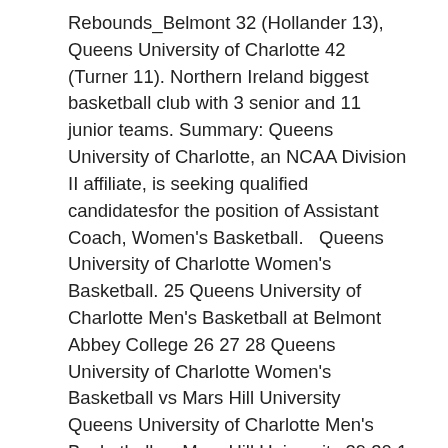Rebounds_Belmont 32 (Hollander 13), Queens University of Charlotte 42 (Turner 11). Northern Ireland biggest basketball club with 3 senior and 11 junior teams. Summary: Queens University of Charlotte, an NCAA Division II affiliate, is seeking qualified candidatesfor the position of Assistant Coach, Women's Basketball.   Queens University of Charlotte Women's Basketball. 25 Queens University of Charlotte Men's Basketball at Belmont Abbey College 26 27 28 Queens University of Charlotte Women's Basketball vs Mars Hill University Queens University of Charlotte Men's Basketball vs Mars Hill University 29 30 1 1 talking about this. Women's Basketball Schedule Roster Statistics Archived Stories JV Team Schedule & Roster Women's Basketball History vs Queens University of Charlotte from Nov 10, 2018 - Nov 10, 2018 Last Matchup Contact us for more information: Dr. Tiffiny Shockley, shockleyt@queens.edu Extended Classroom Internships Health Sciences majors intern at places such